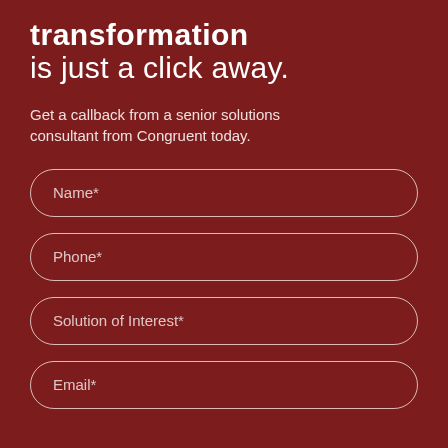transformation is just a click away.
Get a callback from a senior solutions consultant from Congruent today.
Name*
Phone*
Solution of Interest*
Email*